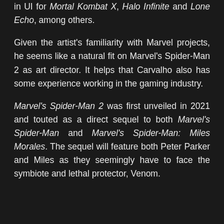in UI for Mortal Kombat X, Halo Infinite and Lone Echo, among others.
Given the artist's familiarity with Marvel projects, he seems like a natural fit on Marvel's Spider-Man 2 as art director. It helps that Carvalho also has some experience working in the gaming industry.
Marvel's Spider-Man 2 was first unveiled in 2021 and touted as a direct sequel to both Marvel's Spider-Man and Marvel's Spider-Man: Miles Morales. The sequel will feature both Peter Parker and Miles as they seemingly have to face the symbiote and lethal protector, Venom.